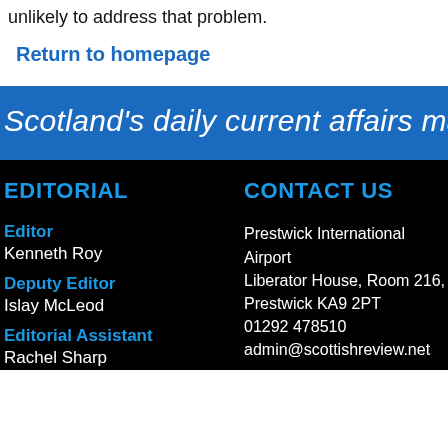unlikely to address that problem.
Return to homepage
Scotland's daily current affairs maga
EDITORIAL
CONTACT US
Editor
Kenneth Roy
Deputy Editor
Islay McLeod
Editorial Assistant
Rachel Sharp
Prestwick International Airport
Liberator House, Room 216,
Prestwick KA9 2PT
01292 478510
admin@scottishreview.net